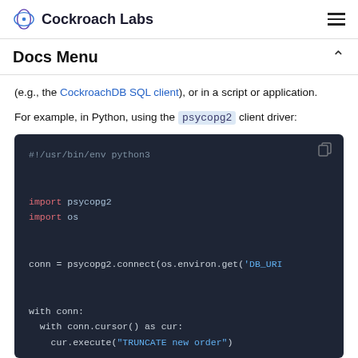Cockroach Labs
Docs Menu
(e.g., the CockroachDB SQL client), or in a script or application.
For example, in Python, using the psycopg2 client driver:
[Figure (screenshot): Dark-themed Python code block showing: #!/usr/bin/env python3, import psycopg2, import os, conn = psycopg2.connect(os.environ.get('DB_URI'), with conn:, with conn.cursor() as cur:, cur.execute("TRUNCATE new order")]